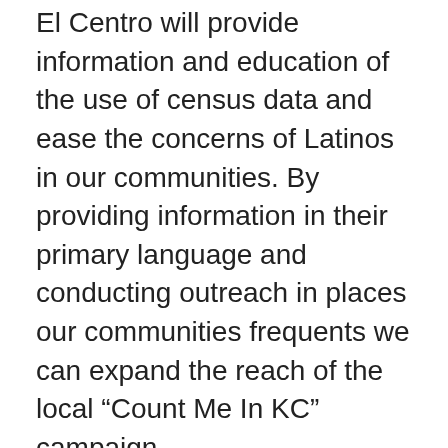El Centro will provide information and education of the use of census data and ease the concerns of Latinos in our communities. By providing information in their primary language and conducting outreach in places our communities frequents we can expand the reach of the local “Count Me In KC” campaign.
We will engage with communities by developing a comprehensive messaging plan that will include: social media campaigns in Spanish, community presentations, 1:1 community outreach, fact sheets, key point messaging training for volunteers,